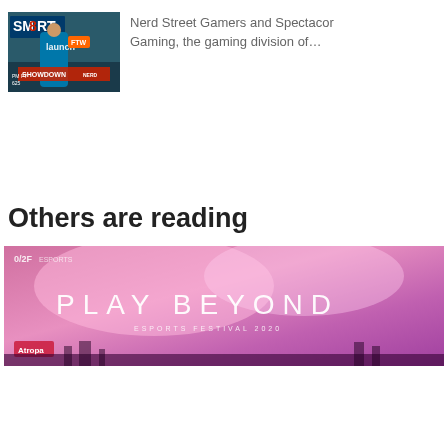[Figure (photo): Thumbnail image of a gaming event with text overlay including 'SMART' logo and 'Launch Showdown' text with a person in gaming pose]
Nerd Street Gamers and Spectacor Gaming, the gaming division of…
Others are reading
[Figure (photo): Pink/purple atmospheric gaming event promotional image with text 'PLAY BEYOND' and 'ESPORTS FESTIVAL 2020', featuring the Atropa logo at bottom left]